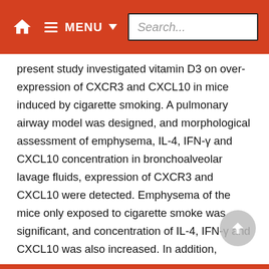MENU Search...
present study investigated vitamin D3 on over-expression of CXCR3 and CXCL10 in mice induced by cigarette smoking. A pulmonary airway model was designed, and morphological assessment of emphysema, IL-4, IFN-γ and CXCL10 concentration in bronchoalveolar lavage fluids, expression of CXCR3 and CXCL10 were detected. Emphysema of the mice only exposed to cigarette smoke was significant, and concentration of IL-4, IFN-γ and CXCL10 was also increased. In addition, CXCR3 and CXCL10 were over-expressed. The degree of emphysema, concentration of IL-4, IFN-γ and CXCL10, and expression of CXCR3 and CXCL10 in mice administrated with low dose vitamin D3 were similar to the normally treated mice. Low dose of vitamin D3 can effectively protect the lung from the damage induced by cigarette smoke.